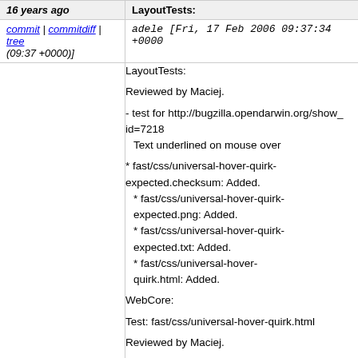16 years ago | LayoutTests:
commit | commitdiff | tree (09:37 +0000)] adele [Fri, 17 Feb 2006 09:37:34 +0000
LayoutTests:

    Reviewed by Maciej.

    - test for http://bugzilla.opendarwin.org/show_bug.cgi?id=7218
      Text underlined on mouse over

    * fast/css/universal-hover-quirk-expected.checksum: Added.
      * fast/css/universal-hover-quirk-expected.png: Added.
      * fast/css/universal-hover-quirk-expected.txt: Added.
      * fast/css/universal-hover-quirk.html: Added.

WebCore:

    Test: fast/css/universal-hover-quirk.html

    Reviewed by Maciej.

    - fix http://bugzilla.opendarwin.org/show_bug.cgi?id=7218
      Text underlined on mouse over